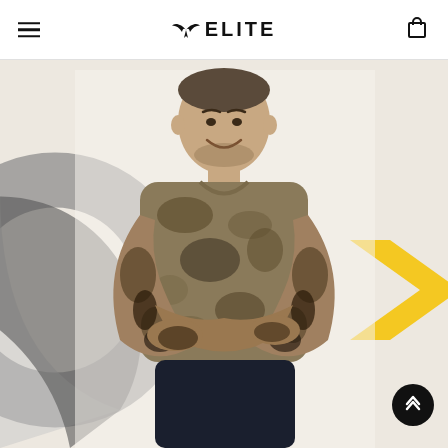ELITE
[Figure (photo): A man with crossed arms wearing a camouflage t-shirt and visible tattoos, smiling, standing in front of a white background with grey and yellow geometric shapes. An Elite brand product photo.]